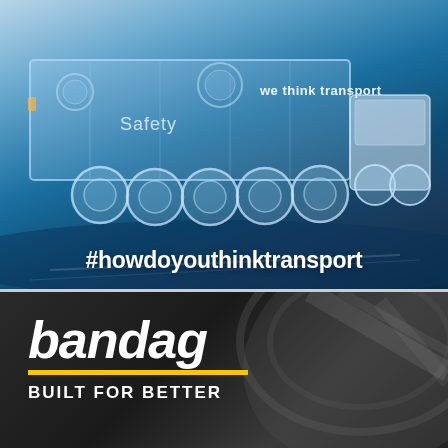[Figure (illustration): Advertisement showing a semi-transparent/ghosted blue truck trailer on a stylized blue road surface with text 'we think transport' on the trailer side and 'Safety' label. The truck is rendered in a futuristic translucent style. Below the truck is the hashtag text '#howdoyouthinktransport' in white bold font on a dark blue background.]
[Figure (logo): Bandag brand advertisement on dark gray/black background showing the 'bandag' logo in large white italic bold text, a yellow horizontal bar underneath, and the tagline 'BUILT FOR BETTER' in white uppercase letters. Background has abstract tire tread patterns.]